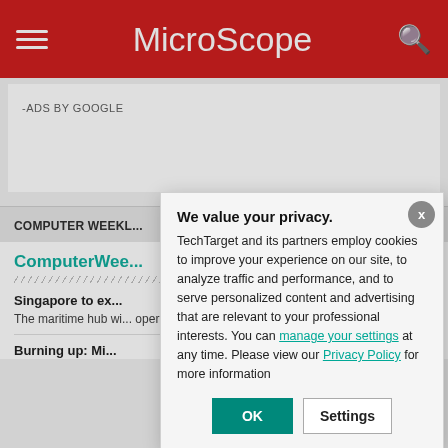MicroScope
-ADS BY GOOGLE
COMPUTER WEEKL...
ComputerWee...
Singapore to ex...
The maritime hub wi... operations including...
Burning up: Mi...
We value your privacy. TechTarget and its partners employ cookies to improve your experience on our site, to analyze traffic and performance, and to serve personalized content and advertising that are relevant to your professional interests. You can manage your settings at any time. Please view our Privacy Policy for more information